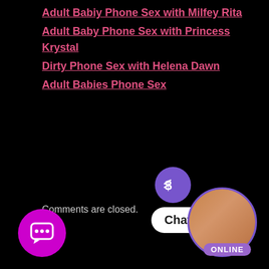Adult Babiy Phone Sex with Milfey Rita
Adult Baby Phone Sex with Princess Krystal
Dirty Phone Sex with Helena Dawn
Adult Babies Phone Sex
Comments are closed.
[Figure (other): Chat widget with purple circle chat icon on bottom left, a 'Chat Now' white pill button in bottom center-right, a purple circle with dollar sign icon above the button, and a circular avatar photo of a woman on far right with an ONLINE badge below.]